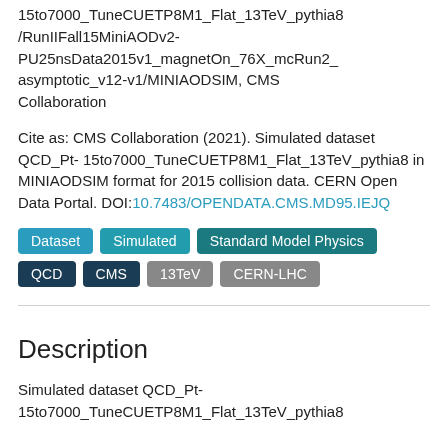15to7000_TuneCUETP8M1_Flat_13TeV_pythia8/RunIIFall15MiniAODv2-PU25nsData2015v1_magnetOn_76X_mcRun2_asymptotic_v12-v1/MINIAODSIM, CMS Collaboration
Cite as: CMS Collaboration (2021). Simulated dataset QCD_Pt-15to7000_TuneCUETP8M1_Flat_13TeV_pythia8 in MINIAODSIM format for 2015 collision data. CERN Open Data Portal. DOI:10.7483/OPENDATA.CMS.MD95.IEJQ
Dataset | Simulated | Standard Model Physics | QCD | CMS | 13TeV | CERN-LHC
Description
Simulated dataset QCD_Pt-15to7000_TuneCUETP8M1_Flat_13TeV_pythia8